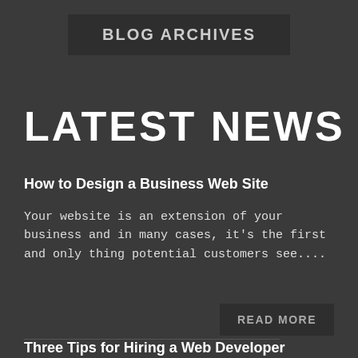BLOG ARCHIVES
LATEST NEWS
How to Design a Business Web Site
Your website is an extension of your business and in many cases, it's the first and only thing potential customers see....
READ MORE
Three Tips for Hiring a Web Developer